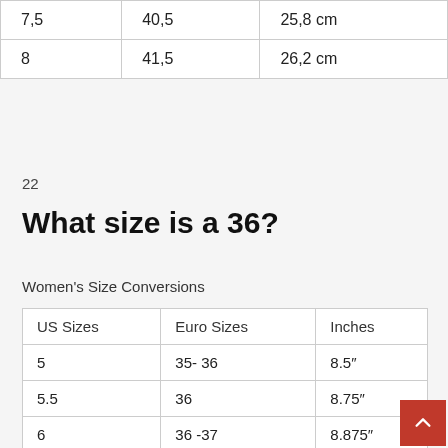| 7,5 | 40,5 | 25,8 cm |
| 8 | 41,5 | 26,2 cm |
22
What size is a 36?
Women's Size Conversions
| US Sizes | Euro Sizes | Inches |
| --- | --- | --- |
| 5 | 35- 36 | 8.5″ |
| 5.5 | 36 | 8.75″ |
| 6 | 36 -37 | 8.875″ |